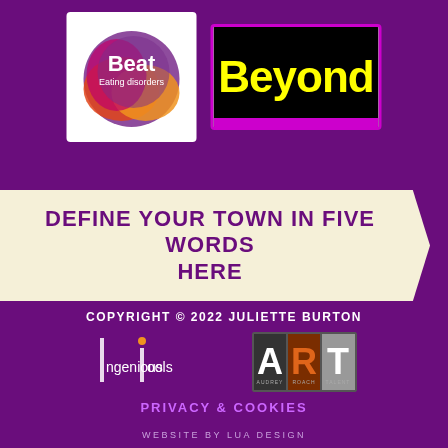[Figure (logo): Beat Eating Disorders circular logo with overlapping coloured circles on white background]
[Figure (logo): Beyond logo — yellow bold text on black background with magenta border and bottom bar]
DEFINE YOUR TOWN IN FIVE WORDS HERE
COPYRIGHT © 2022 JULIETTE BURTON
[Figure (logo): Ingenious Fools logo — stylised text with vertical bar elements]
[Figure (logo): ART — Audrey Roach Talent logo in grey box]
PRIVACY & COOKIES
WEBSITE BY LUA DESIGN